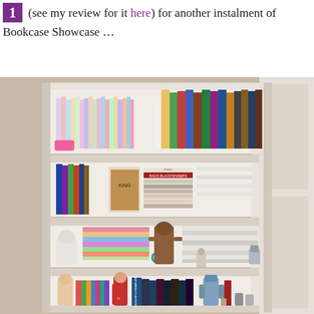1 (see my review for it here) for another instalment of Bookcase Showcase …
[Figure (photo): A white bookcase filled with multiple shelves of books, comics, graphic novels, and figurines including a Chewbacca figure, Star Wars characters, and various collectibles. The bookcase is set against a beige wall.]